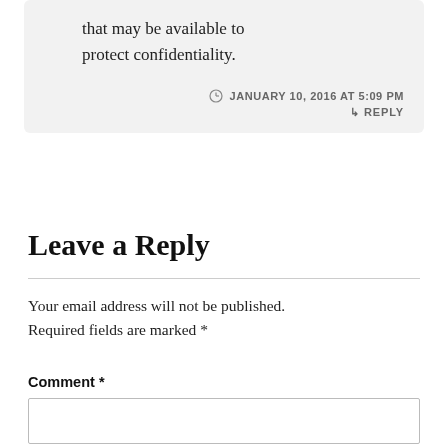that may be available to protect confidentiality.
JANUARY 10, 2016 AT 5:09 PM
↳ REPLY
Leave a Reply
Your email address will not be published. Required fields are marked *
Comment *